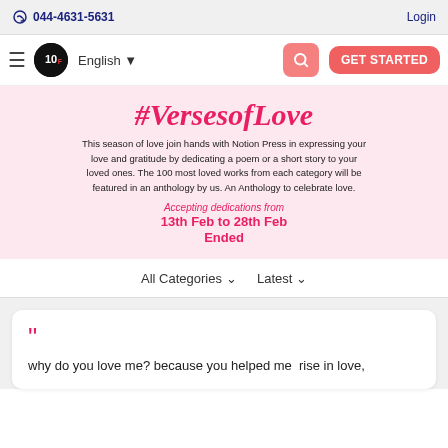044-4631-5631   Login
[Figure (screenshot): Navigation bar with hamburger menu, 10F logo, English language selector, search button, and GET STARTED button]
[Figure (infographic): Banner with #VersesofLove heading, description text about anthology, accepting dedications from 13th Feb to 28th Feb, Ended]
All Categories ↓   Latest ↓
why do you love me? because you helped me  rise in love,